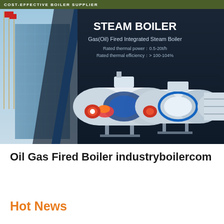COST-EFFECTIVE BOILER SUPPLIER
[Figure (photo): Steam boiler product banner showing a building with flagpoles on the left and three industrial gas/oil fired integrated steam boilers on a dark navy background. Text overlaid: STEAM BOILER, Gas(Oil) Fired Integrated Steam Boiler, Rated thermal power: 0.5-20t/h, Rated thermal efficiency: >100-104%]
Oil Gas Fired Boiler industryboilercom
Hot News